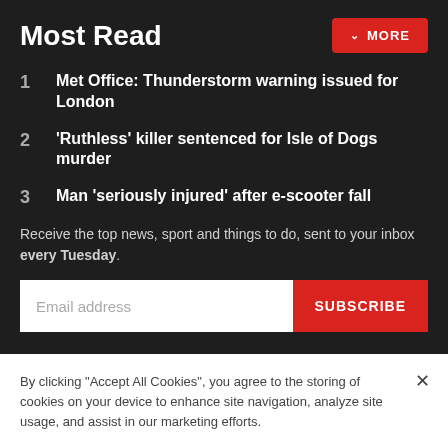Most Read
1  Met Office: Thunderstorm warning issued for London
2  'Ruthless' killer sentenced for Isle of Dogs murder
3  Man 'seriously injured' after e-scooter fall
Receive the top news, sport and things to do, sent to your inbox every Tuesday.
Email address  SUBSCRIBE
By clicking "Accept All Cookies", you agree to the storing of cookies on your device to enhance site navigation, analyze site usage, and assist in our marketing efforts.
Cookies Settings  Accept All Cookies